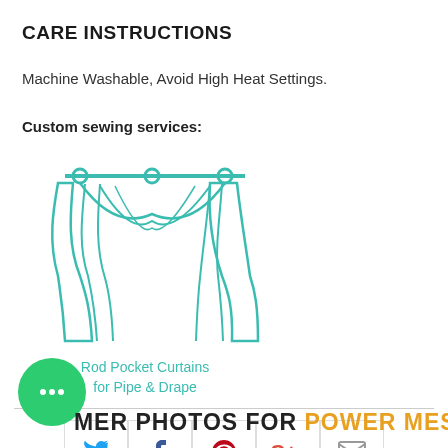CARE INSTRUCTIONS
Machine Washable, Avoid High Heat Settings.
Custom sewing services:
[Figure (illustration): Line drawing of rod pocket curtains hanging on a rod for pipe and drape]
Rod Pocket Curtains for Pipe & Drape
[Figure (infographic): Social sharing buttons: Twitter, Facebook, Pinterest, Google+, Email]
CUSTOMER PHOTOS FOR POWER MESH